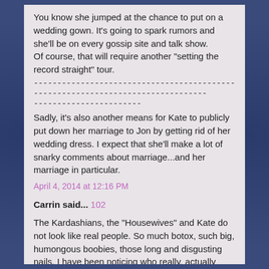You know she jumped at the chance to put on a wedding gown. It's going to spark rumors and she'll be on every gossip site and talk show.
Of course, that will require another "setting the record straight" tour.
--------------------------------------------------------------------------------
-----------------------
Sadly, it's also another means for Kate to publicly put down her marriage to Jon by getting rid of her wedding dress. I expect that she'll make a lot of snarky comments about marriage...and her marriage in particular.
April 4, 2014 at 12:16 PM
Carrin said... 102
The Kardashians, the "Housewives" and Kate do not look like real people. So much botox, such big, humongous boobies, those long and disgusting nails. I have been noticing who really, actually looks human on TV anymore, and some real humans do still exist on TV. "The Good Wife" looks real still.
How refreshing to see her natural nails, small to